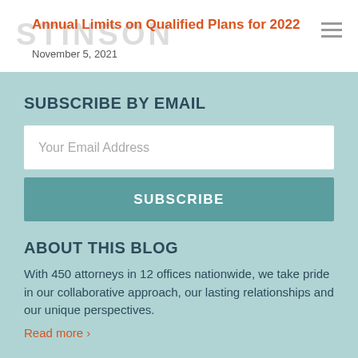Annual Limits on Qualified Plans for 2022 — November 5, 2021
SUBSCRIBE BY EMAIL
Your Email Address
SUBSCRIBE
ABOUT THIS BLOG
With 450 attorneys in 12 offices nationwide, we take pride in our collaborative approach, our lasting relationships and our unique perspectives.
Read more ›